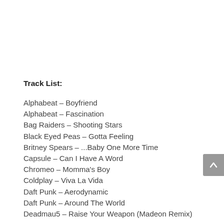Track List:
Alphabeat – Boyfriend
Alphabeat – Fascination
Bag Raiders – Shooting Stars
Black Eyed Peas – Gotta Feeling
Britney Spears – ...Baby One More Time
Capsule – Can I Have A Word
Chromeo – Momma's Boy
Coldplay – Viva La Vida
Daft Punk – Aerodynamic
Daft Punk – Around The World
Deadmau5 – Raise Your Weapon (Madeon Remix)